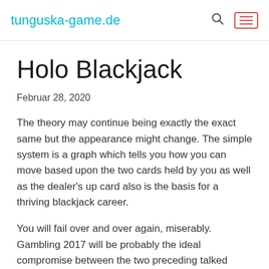tunguska-game.de
Holo Blackjack
Februar 28, 2020
The theory may continue being exactly the exact same but the appearance might change. The simple system is a graph which tells you how you can move based upon the two cards held by you as well as the dealer's up card also is the basis for a thriving blackjack career.
You will fail over and over again, miserably. Gambling 2017 will be probably the ideal compromise between the two preceding talked about Android applications.
Whatever the player wins over the course will be so to their advantage. To get the game, you should concentrate on the gaming expertise and play the game in an intelligent